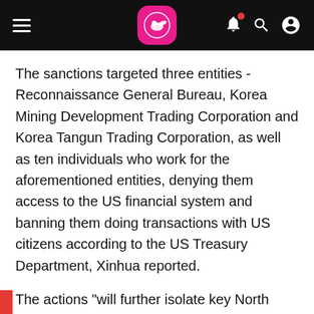[Navigation bar with hamburger menu, airline logo, bell notification, search, and profile icons]
The sanctions targeted three entities - Reconnaissance General Bureau, Korea Mining Development Trading Corporation and Korea Tangun Trading Corporation, as well as ten individuals who work for the aforementioned entities, denying them access to the US financial system and banning them doing transactions with US citizens according to the US Treasury Department, Xinhua reported.
The actions "will further isolate key North Korean entities and disrupt the activities of close to a dozen critical North Korean operatives," US Treasury Secretary Jacob Lew said in a statement issued Friday